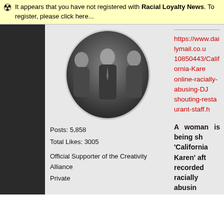It appears that you have not registered with Racial Loyalty News. To register, please click here...
[Figure (photo): Black and white oval portrait photo of three people: two women and a man in formal attire]
Posts: 5,858
Total Likes: 3005
Official Supporter of the Creativity Alliance
Private
https://www.dailymail.co.uk/10850443/California-Karen-online-racially-abusing-DJ-shouting-restaurant-staff.h
A woman is being sh 'California Karen' aft recorded racially abusin at a swanky Santa Barba
The altercation, which tra Boathouse at Hen Wednesday, reportedly s woman, who has not yet began berating staff a eatery after her card wa night before.
As an argument ensued,